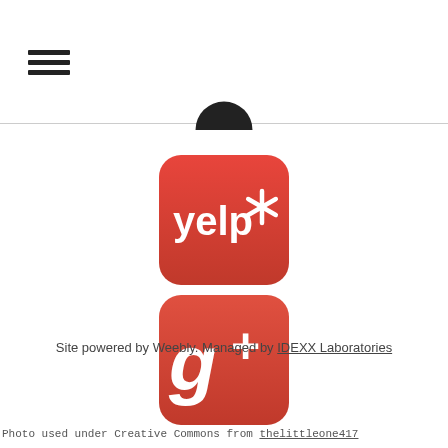[Figure (illustration): Hamburger menu icon — three horizontal black bars stacked vertically]
[Figure (logo): Yelp app icon — red rounded-square with 'yelp*' text in white]
[Figure (logo): Google+ app icon — red rounded-square with 'g+' text in white]
Site powered by Weebly. Managed by IDEXX Laboratories
Photo used under Creative Commons from thelittleone417